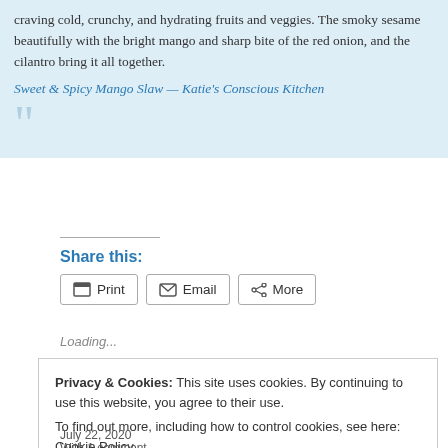craving cold, crunchy, and hydrating fruits and veggies. The smoky sesame beautifully with the bright mango and sharp bite of the red onion, and the cilantro bring it all together.
Sweet & Spicy Mango Slaw — Katie's Conscious Kitchen
Share this:
Loading...
Privacy & Cookies: This site uses cookies. By continuing to use this website, you agree to their use. To find out more, including how to control cookies, see here: Cookie Policy
July 22, 2020
With 1 comment